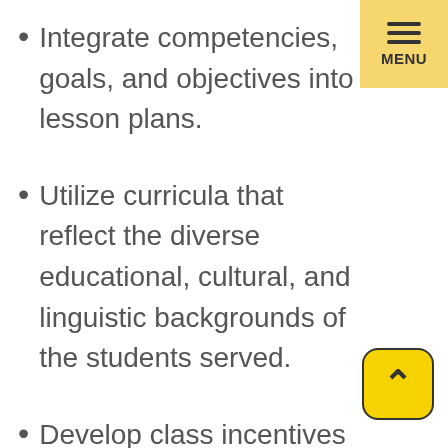Integrate competencies, goals, and objectives into lesson plans.
Utilize curricula that reflect the diverse educational, cultural, and linguistic backgrounds of the students served.
Develop class incentives to keep participants in the class.
Develop professional relationships with